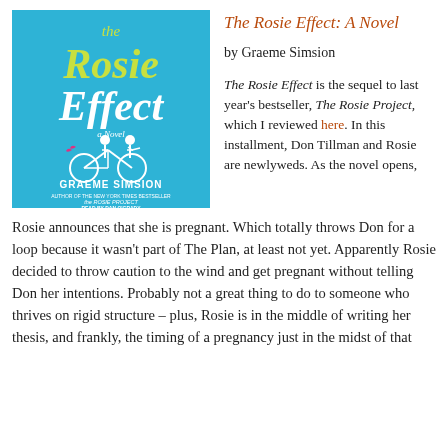[Figure (illustration): Book cover of 'The Rosie Effect: A Novel' by Graeme Simsion. Blue background with stylized yellow/white hand-lettered title text. Illustration of two figures riding a tandem bicycle with a small bird flying near them. Author name GRAEME SIMSION in white caps at bottom, with text 'AUTHOR OF THE NEW YORK TIMES BESTSELLER THE ROSIE PROJECT' and 'READ BY DAN O'GRADY'.]
The Rosie Effect: A Novel
by Graeme Simsion
The Rosie Effect is the sequel to last year's bestseller, The Rosie Project, which I reviewed here. In this installment, Don Tillman and Rosie are newlyweds. As the novel opens, Rosie announces that she is pregnant. Which totally throws Don for a loop because it wasn't part of The Plan, at least not yet. Apparently Rosie decided to throw caution to the wind and get pregnant without telling Don her intentions. Probably not a great thing to do to someone who thrives on rigid structure – plus, Rosie is in the middle of writing her thesis, and frankly, the timing of a pregnancy just in the midst of that